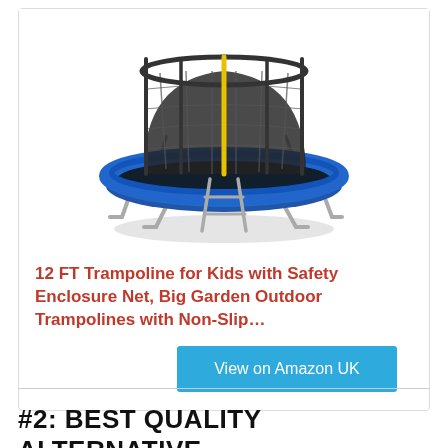[Figure (photo): Product photo of a 12 FT trampoline with black safety enclosure net, blue padding, metal frame legs, and a ladder at the front.]
12 FT Trampoline for Kids with Safety Enclosure Net, Big Garden Outdoor Trampolines with Non-Slip…
View on Amazon UK
#2: BEST QUALITY ALTERNATIVE